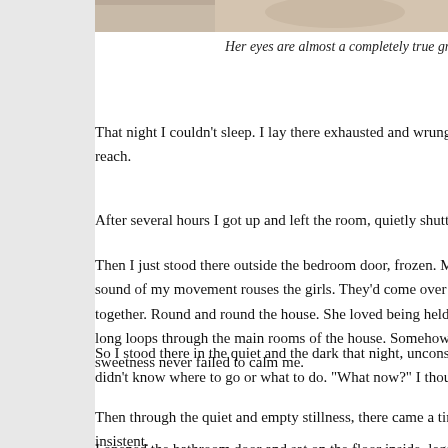[Figure (photo): Partial photo strip visible at top of page, appears to show a close-up of a face or eyes, light tan/beige tones]
Her eyes are almost a completely true gray - it took me
That night I couldn't sleep. I lay there exhausted and wrung out reach.
After several hours I got up and left the room, quietly shutting th
Then I just stood there outside the bedroom door, frozen. Most sound of my movement rouses the girls. They'd come over with together. Round and round the house. She loved being held o long loops through the main rooms of the house. Somehow Lily sweetness never failed to calm me.
So I stood there in the quiet and the dark that night, unconscio didn't know where to go or what to do. "What now?" I thought.
Then through the quiet and empty stillness, there came a tiny n insistent.
I opened the bathroom door and sat on the floor inside, legs ou sobs she appeared. She tumbled towards me and rubbed her t